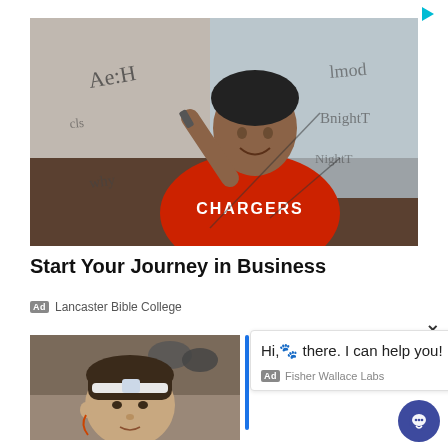[Figure (photo): Play/ad icon button in top right corner]
[Figure (photo): Photo of a young Black man in a red Chargers shirt writing on a glass board, with formulas and notes visible]
Start Your Journey in Business
Ad  Lancaster Bible College
×
[Figure (photo): Photo of an Asian woman with a medical device on her forehead, in a kitchen setting]
Hi,🐾 there. I can help you!
Ad  Fisher Wallace Labs